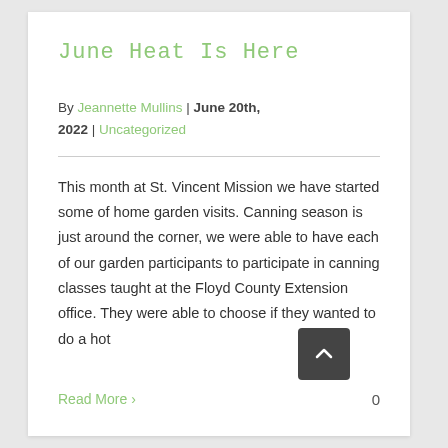June Heat Is Here
By Jeannette Mullins | June 20th, 2022 | Uncategorized
This month at St. Vincent Mission we have started some of home garden visits. Canning season is just around the corner, we were able to have each of our garden participants to participate in canning classes taught at the Floyd County Extension office. They were able to choose if they wanted to do a hot
Read More ›